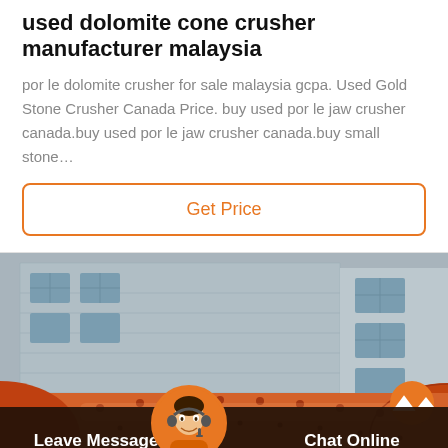used dolomite cone crusher manufacturer malaysia
por le dolomite crusher for sale malaysia gcpa. Used Gold Stone Crusher Canada Price. buy used por le jaw crusher canada.buy used por le jaw crusher canada.buy small stone…
Get Price
[Figure (photo): Industrial building with gray exterior walls and windows in the background, with a large orange cylindrical ball mill machine in the foreground]
Leave Message
Chat Online